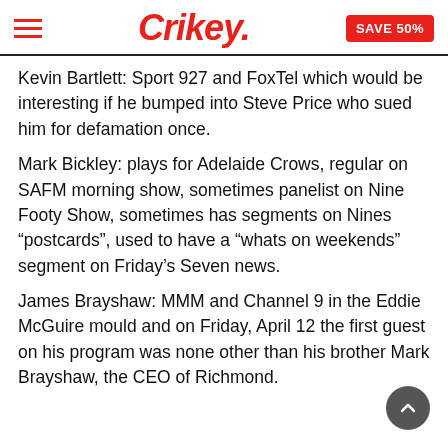Crikey. SAVE 50%
Kevin Bartlett: Sport 927 and FoxTel which would be interesting if he bumped into Steve Price who sued him for defamation once.
Mark Bickley: plays for Adelaide Crows, regular on SAFM morning show, sometimes panelist on Nine Footy Show, sometimes has segments on Nines “postcards”, used to have a “whats on weekends” segment on Friday’s Seven news.
James Brayshaw: MMM and Channel 9 in the Eddie McGuire mould and on Friday, April 12 the first guest on his program was none other than his brother Mark Brayshaw, the CEO of Richmond.